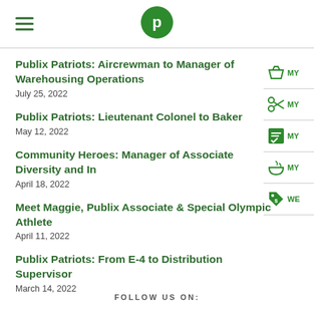Publix logo with hamburger menu
Publix Patriots: Aircrewman to Manager of Warehousing Operations
July 25, 2022
Publix Patriots: Lieutenant Colonel to Baker
May 12, 2022
Community Heroes: Manager of Associate Diversity and In
April 18, 2022
Meet Maggie, Publix Associate & Special Olympic Athlete
April 11, 2022
Publix Patriots: From E-4 to Distribution Supervisor
March 14, 2022
FOLLOW US ON: